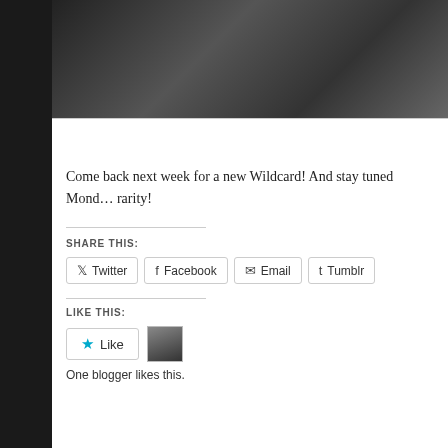[Figure (photo): Black and white photo of people, partially visible at top of page]
Come back next week for a new Wildcard! And stay tuned Monday for a rarity!
SHARE THIS:
Twitter | Facebook | Email | Tumblr
LIKE THIS:
Like
One blogger likes this.